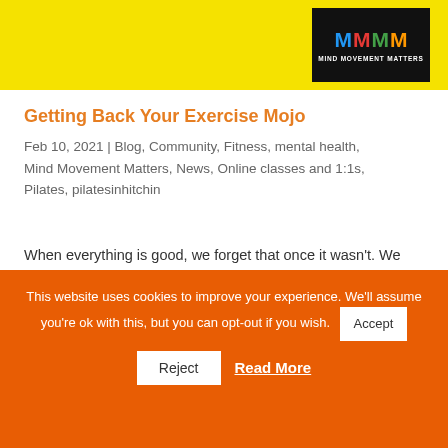[Figure (logo): Mind Movement Matters logo — black background with four colored M letters (blue, red, green, orange) and text 'MIND MOVEMENT MATTERS' below]
Getting Back Your Exercise Mojo
Feb 10, 2021 | Blog, Community, Fitness, mental health, Mind Movement Matters, News, Online classes and 1:1s, Pilates, pilatesinhitchin
When everything is good, we forget that once it wasn't. We forget what it was like when we first started out as a beginner and couldn't balance both feet off the floor for Rolling Like a Ball, or stay up in the Hundred for more than 20! We forget that we...
This website uses cookies to improve your experience. We'll assume you're ok with this, but you can opt-out if you wish.  Accept   Reject   Read More